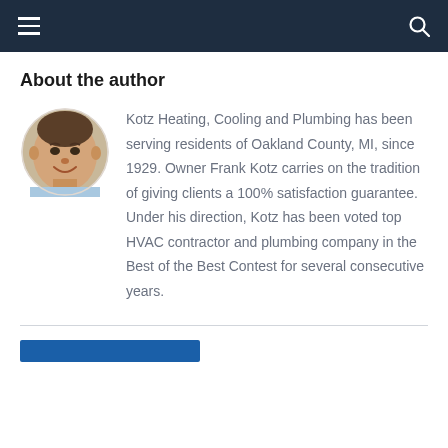Navigation bar with hamburger menu and search icon
About the author
[Figure (photo): Circular portrait photo of a middle-aged man smiling, wearing a light blue shirt]
Kotz Heating, Cooling and Plumbing has been serving residents of Oakland County, MI, since 1929. Owner Frank Kotz carries on the tradition of giving clients a 100% satisfaction guarantee. Under his direction, Kotz has been voted top HVAC contractor and plumbing company in the Best of the Best Contest for several consecutive years.